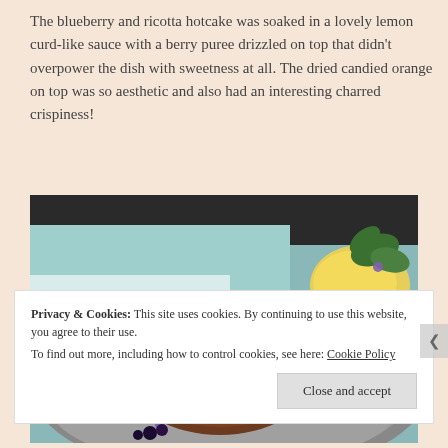The blueberry and ricotta hotcake was soaked in a lovely lemon curd-like sauce with a berry puree drizzled on top that didn't overpower the dish with sweetness at all. The dried candied orange on top was so aesthetic and also had an interesting charred crispiness!
[Figure (photo): Close-up photo of a blueberry and ricotta hotcake dish on a grey plate, topped with a dried charred candied orange slice, mint leaves, purple edible flowers, and powdered sugar. A yellow lemon curd sauce and green garnish are visible in the background.]
Privacy & Cookies: This site uses cookies. By continuing to use this website, you agree to their use.
To find out more, including how to control cookies, see here: Cookie Policy